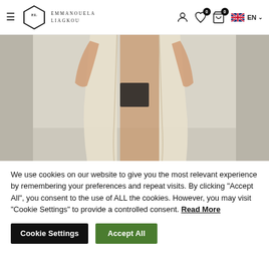EMMANOUELA LIAGKOU — navigation header with hamburger menu, logo, account icon, wishlist (0), cart (0), EN language selector
[Figure (photo): Fashion model wearing a long beige/cream open coat or robe over a black swimsuit/bodysuit, standing against a light grey background. Cropped view showing torso and legs.]
We use cookies on our website to give you the most relevant experience by remembering your preferences and repeat visits. By clicking "Accept All", you consent to the use of ALL the cookies. However, you may visit "Cookie Settings" to provide a controlled consent. Read More
Cookie Settings
Accept All